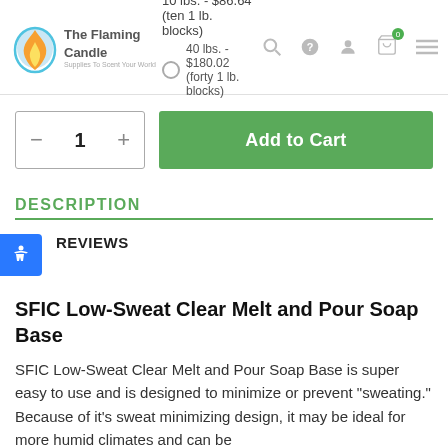The Flaming Candle — Supplies To Scent Your World
10 lbs. - $86.64 (ten 1 lb. blocks)
40 lbs. - $180.02 (forty 1 lb. blocks)
1  Add to Cart
DESCRIPTION
REVIEWS
SFIC Low-Sweat Clear Melt and Pour Soap Base
SFIC Low-Sweat Clear Melt and Pour Soap Base is super easy to use and is designed to minimize or prevent "sweating." Because of it's sweat minimizing design, it may be ideal for more humid climates and can be